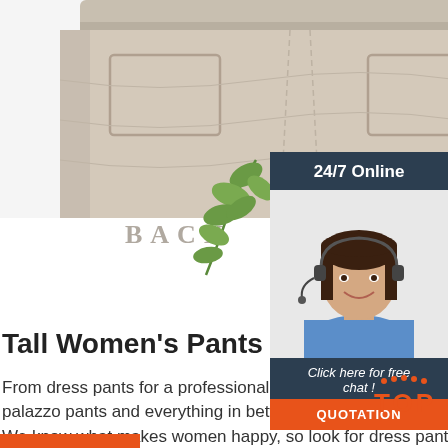[Figure (photo): Back view of beige/khaki palazzo pants with elastic waistband and front pockets on white background]
BACK
[Figure (photo): Customer service widget showing a smiling female agent wearing a headset with dark hair and blue shirt, with 24/7 Online header, Click here for free chat text, and QUOTATION orange button]
Tall Women's Pants
From dress pants for a professional look to comfortable and fashionable palazzo pants and everything in between, we've got what you've looking for. We know what makes women happy, so look for dress pants, such as our smart wide-leg pant, that come ...